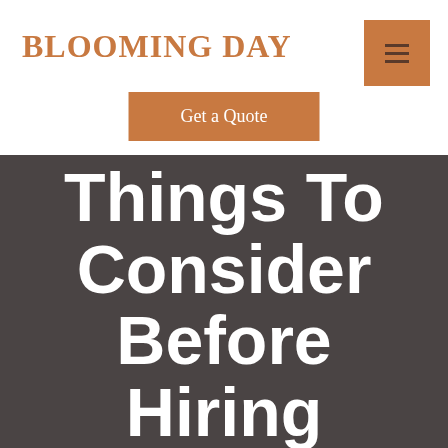BLOOMING DAY
[Figure (other): Hamburger menu button icon with three horizontal lines on a copper/tan background square]
Get a Quote
Things To Consider Before Hiring